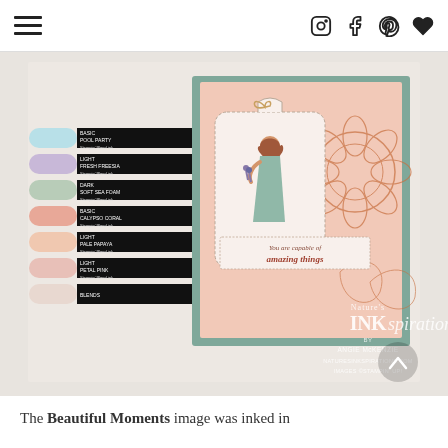Navigation header with hamburger menu and social icons (Instagram, Facebook, Pinterest, Heart/Bloglovin)
[Figure (photo): Photo of Stampin' Up! markers in pastel colors (light blue/pool party, light fresh freesia/purple, dark soft sea foam/green, a pink/coral, light pale papaya/peach, a soft pink, and a lighter one) fanned out beside a handmade greeting card. The card features a woman in a teal dress from the Beautiful Moments stamp set, surrounded by flowers, with text reading 'You are capable of amazing things'. Watermark reads: Nature's INKspirations by Angie McKenzie, naturesInkspirations.com, Images ©Stampin' Up!]
The Beautiful Moments image was inked in